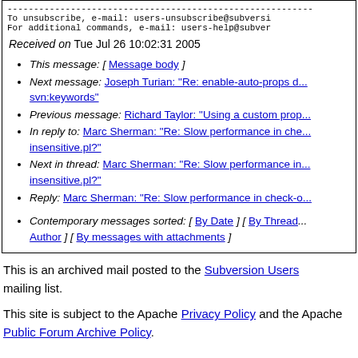------------------------------------------------------------
To unsubscribe, e-mail: users-unsubscribe@subversi
For additional commands, e-mail: users-help@subver
Received on Tue Jul 26 10:02:31 2005
This message: [ Message body ]
Next message: Joseph Turian: "Re: enable-auto-props d... svn:keywords"
Previous message: Richard Taylor: "Using a custom prop...
In reply to: Marc Sherman: "Re: Slow performance in che... insensitive.pl?"
Next in thread: Marc Sherman: "Re: Slow performance in... insensitive.pl?"
Reply: Marc Sherman: "Re: Slow performance in check-o...
Contemporary messages sorted: [ By Date ] [ By Thread ]... Author ] [ By messages with attachments ]
This is an archived mail posted to the Subversion Users mailing list.
This site is subject to the Apache Privacy Policy and the Apache Public Forum Archive Policy.